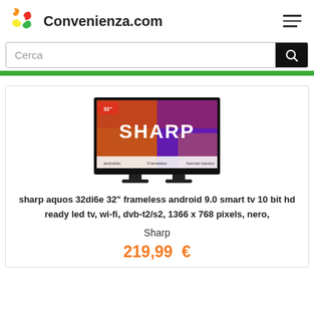Convenienza.com
Cerca
[Figure (photo): Sharp AQUOS 32DI6E 32-inch frameless Android TV product photo showing the television with a colorful gradient screen displaying the Sharp logo, android tv, Frameless, and Harman Kardon labels at the bottom.]
sharp aquos 32di6e 32" frameless android 9.0 smart tv 10 bit hd ready led tv, wi-fi, dvb-t2/s2, 1366 x 768 pixels, nero,
Sharp
219,99 €